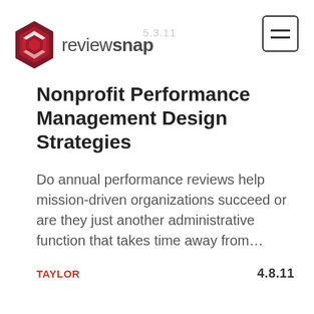reviewsnap  5.3.11
Nonprofit Performance Management Design Strategies
Do annual performance reviews help mission-driven organizations succeed or are they just another administrative function that takes time away from…
TAYLOR  4.8.11